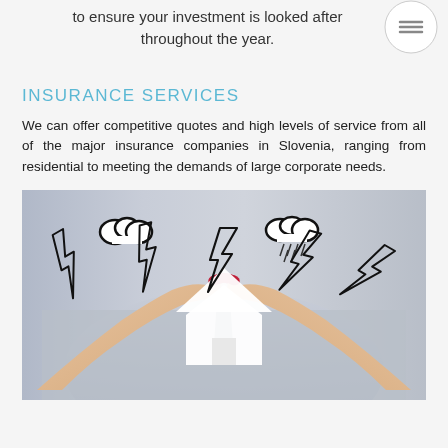to ensure your investment is looked after throughout the year.
INSURANCE SERVICES
We can offer competitive quotes and high levels of service from all of the major insurance companies in Slovenia, ranging from residential to meeting the demands of large corporate needs.
[Figure (photo): Hands forming a roof shape over a white paper house cutout, surrounded by drawn lightning bolts and rain clouds, symbolizing home insurance protection.]